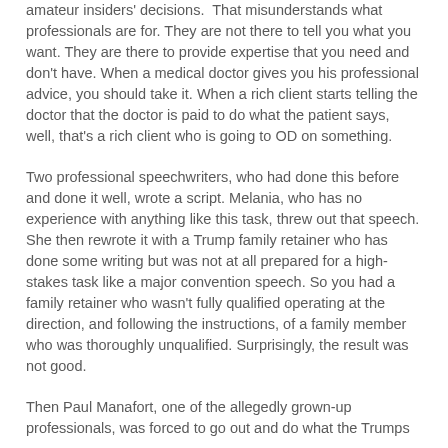amateur insiders' decisions.  That misunderstands what professionals are for. They are not there to tell you what you want. They are there to provide expertise that you need and don't have. When a medical doctor gives you his professional advice, you should take it. When a rich client starts telling the doctor that the doctor is paid to do what the patient says, well, that's a rich client who is going to OD on something.
Two professional speechwriters, who had done this before and done it well, wrote a script. Melania, who has no experience with anything like this task, threw out that speech. She then rewrote it with a Trump family retainer who has done some writing but was not at all prepared for a high-stakes task like a major convention speech. So you had a family retainer who wasn't fully qualified operating at the direction, and following the instructions, of a family member who was thoroughly unqualified. Surprisingly, the result was not good.
Then Paul Manafort, one of the allegedly grown-up professionals, was forced to go out and do what the Trumps